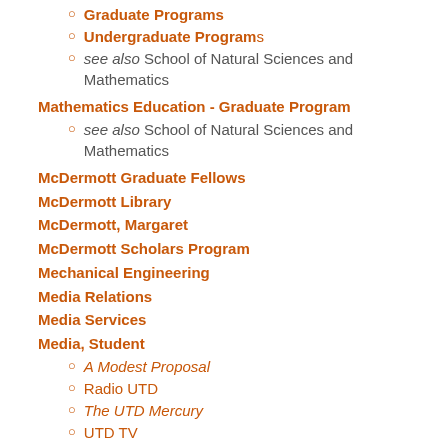Graduate Programs
Undergraduate Programs
see also School of Natural Sciences and Mathematics
Mathematics Education - Graduate Program
see also School of Natural Sciences and Mathematics
McDermott Graduate Fellows
McDermott Library
McDermott, Margaret
McDermott Scholars Program
Mechanical Engineering
Media Relations
Media Services
Media, Student
A Modest Proposal
Radio UTD
The UTD Mercury
UTD TV
Medicine - Undergraduate Program (Pre-